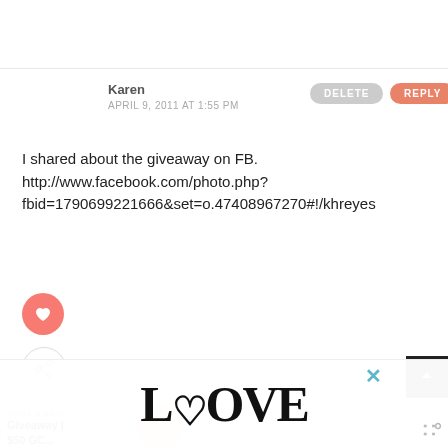Karen
APRIL 9, 2011 AT 1:55 PM
DELETE
REPLY
I shared about the giveaway on FB.
http://www.facebook.com/photo.php?fbid=1790699221666&set=o.47408967270#!/khreyes
[Figure (infographic): Pink heart like button circle icon]
[Figure (infographic): Share button circle icon with share symbol]
[Figure (infographic): Scroll to top black square button with up arrow]
WHAT'S NEXT → Giveaway | $50 GC...
Karen
APRIL 9, 2011 AT 1:56 PM
DELETE
REPLY
[Figure (illustration): LOOVE decorative typography advertisement overlay at bottom of page]
×